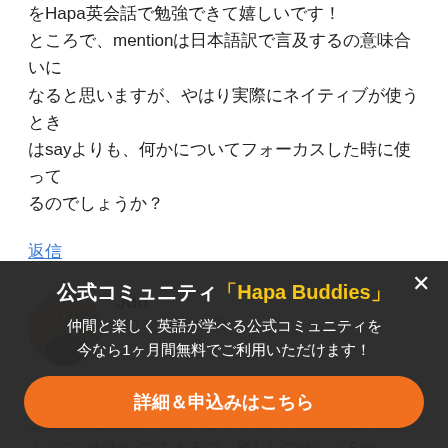をHapa英会話で勉強できて嬉しいです！
ところで、mentionは日本語訳で言及するの意味合いになると思いますが、やはり実際にネイティブが使うときはsayよりも、何かについてフォーカスした時に使ってるのでしょうか？
返信
Jun
2017年11月20日
Samさん
こんにちは。アメリカ人とイギリス人の対談を気に入っていただいてるようで、嬉しいです。「Say」て使い方が　　　　　　　　　　　　　　　　いますが「Mention」は「〜について簡単に述べる、触れる」　　　　　　　　　います。
返信
[Figure (infographic): Popup overlay with dark background. Title: 公式コミュニティ「Hapa Buddies」. Description: 仲間と楽しく英語が学べる公式コミュニティを今なら1ヶ月間無料でご利用いただけます！. Button: 詳細＆申込みはこちら. Close button (×) in top right.]